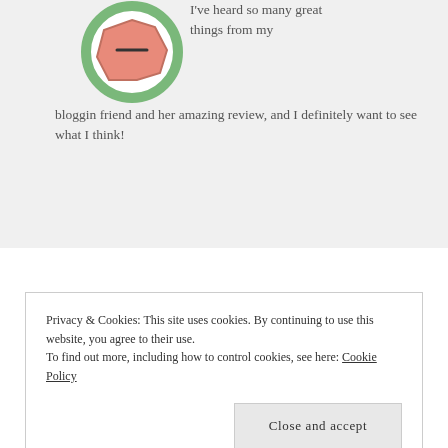[Figure (illustration): Avatar icon: circular badge with green border, salmon/pink octagon shape inside with a horizontal dash/minus symbol]
I've heard so many great things from my bloggin friend and her amazing review, and I definitely want to see what I think!
Privacy & Cookies: This site uses cookies. By continuing to use this website, you agree to their use.
To find out more, including how to control cookies, see here: Cookie Policy
Close and accept